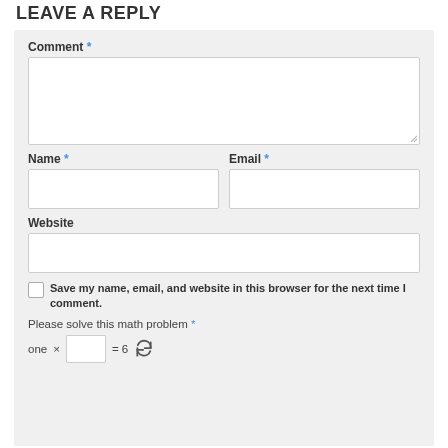LEAVE A REPLY
Comment *
Name *
Email *
Website
Save my name, email, and website in this browser for the next time I comment.
Please solve this math problem *
one × [input] = 6 [refresh icon]